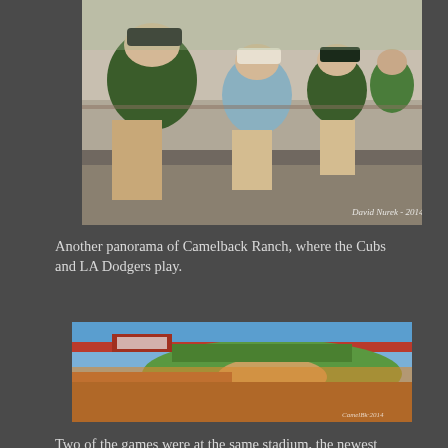[Figure (photo): People sitting on benches outside a baseball stadium in sunny weather; men wearing green polo shirts and caps; watermark reads 'David Nurek - 2014']
Another panorama of Camelback Ranch, where the Cubs and LA Dodgers play.
[Figure (photo): Panoramic view of Camelback Ranch baseball stadium filled with spectators; green playing field visible with teams on it; blue sky in background]
Two of the games were at the same stadium, the newest one built in Scottsdale.  We've gone to a few games at the stadium and really like